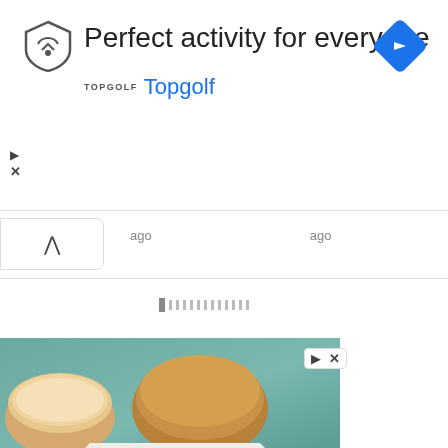[Figure (screenshot): Topgolf advertisement banner with shield logo, headline 'Perfect activity for everyone', brand name 'Topgolf' in blue, and a blue diamond navigation arrow icon on the right]
ago   ago
[Figure (screenshot): Loading/progress bar with vertical tick marks in gray]
[Figure (photo): Food advertisement photo showing fried chicken tenders on a white octagonal plate with a small black bowl of dipping sauce, and dinner rolls in the background on a teal wooden surface]